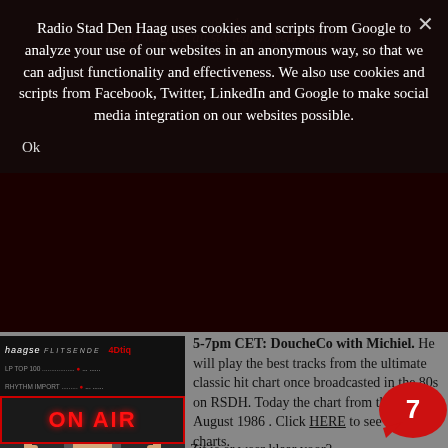open 1. RSDH where it all started, 40 years ago in 1981.
Radio Stad Den Haag uses cookies and scripts from Google to analyze your use of our websites in an anonymous way, so that we can adjust functionality and effectiveness. We also use cookies and scripts from Facebook, Twitter, LinkedIn and Google to make social media integration on our websites possible.
Ok
[Figure (screenshot): ON AIR sign with Haagse Flitsende LP TOP 100 and Rhythm Import branding at top, red ON AIR neon sign below, and a DJ with headphones giving thumbs up]
5-7pm CET: DoucheCo with Michiel. He will play the best tracks from the ultimate classic hit chart once broadcasted in the 80s on RSDH. Today the chart from the 9th of August 1986 . Click HERE to see the charts.
Zit je er weer klaar voor? Jullie hebben via facebook je keuze gemaakt en